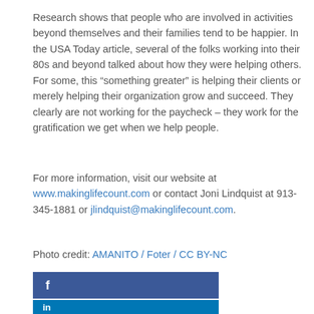Research shows that people who are involved in activities beyond themselves and their families tend to be happier. In the USA Today article, several of the folks working into their 80s and beyond talked about how they were helping others. For some, this “something greater” is helping their clients or merely helping their organization grow and succeed. They clearly are not working for the paycheck – they work for the gratification we get when we help people.
For more information, visit our website at www.makinglifecount.com or contact Joni Lindquist at 913-345-1881 or jlindquist@makinglifecount.com.
Photo credit: AMANITO / Foter / CC BY-NC
[Figure (other): Facebook social media button bar (dark blue) with white 'f' icon]
[Figure (other): LinkedIn social media button bar (medium blue) with white 'in' icon]